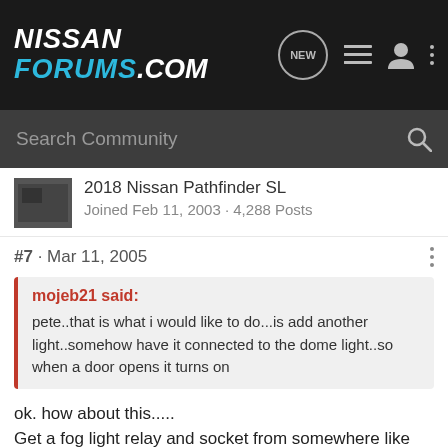NISSAN FORUMS.COM
Search Community
2018 Nissan Pathfinder SL
Joined Feb 11, 2003 · 4,288 Posts
#7 · Mar 11, 2005
mojeb21 said:
pete..that is what i would like to do...is add another light..somehow have it connected to the dome light..so when a door opens it turns on
ok. how about this.....
Get a fog light relay and socket from somewhere like pepboys. The wire from the dome lamp grounds through the pin switch at the door jamb. so you will need 12v from a fused wire through the relay to the grounding switch. I think you can find the wire ok under the side pannel in the foot well. Look in the FSM to find the right wire.